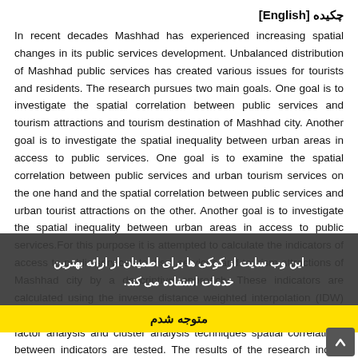چکیده [English]
In recent decades Mashhad has experienced increasing spatial changes in its public services development. Unbalanced distribution of Mashhad public services has created various issues for tourists and residents. The research pursues two main goals. One goal is to investigate the spatial correlation between public services and tourism attractions and tourism destination of Mashhad city. Another goal is to investigate the spatial inequality between urban areas in access to public services. One goal is to examine the spatial correlation between public services and urban tourism services on the one hand and the spatial correlation between public services and urban tourist attractions on the other. Another goal is to investigate the spatial inequality between urban areas in access to public services.For this purpose it is attempted to calculate the indicators of access to public services tourism services and tourism attractions of Mashhad city by a descriptive approach. These indicators are calculated using the inverse distance weighted interpolation (IDW) technique based on Mashhad urban database data. Then using factor analysis and cluster analysis techniques spatial correlations between indicators are tested. The results of the research indicate significant spatial correlation between access to public servi
این وب سایت از کوکی ها برای اطمینان از ارائه بهترین خدمات استفاده می کند.
متوجه شدم